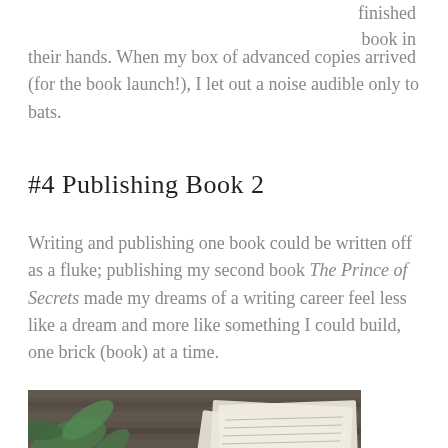finished book in their hands. When my box of advanced copies arrived (for the book launch!), I let out a noise audible only to bats.
#4 Publishing Book 2
Writing and publishing one book could be written off as a fluke; publishing my second book The Prince of Secrets made my dreams of a writing career feel less like a dream and more like something I could build, one brick (book) at a time.
[Figure (photo): Flat lay photo showing a tablet displaying 'Prince of Secrets' book cover, a cup of tea on a saucer, sheet music papers, green leaves, and small white flowers arranged on a wooden surface.]